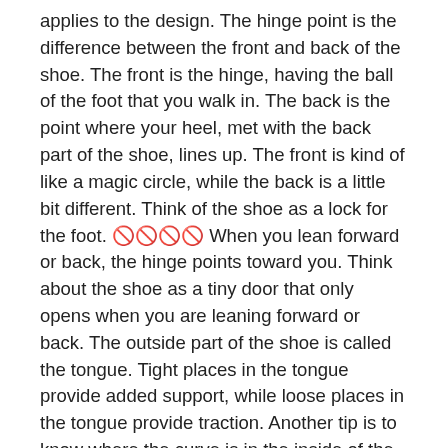applies to the design. The hinge point is the difference between the front and back of the shoe. The front is the hinge, having the ball of the foot that you walk in. The back is the point where your heel, met with the back part of the shoe, lines up. The front is kind of like a magic circle, while the back is a little bit different. Think of the shoe as a lock for the foot. [unicode chars] When you lean forward or back, the hinge points toward you. Think about the shoe as a tiny door that only opens when you are leaning forward or back. The outside part of the shoe is called the tongue. Tight places in the tongue provide added support, while loose places in the tongue provide traction. Another tip is to know where the curve is in the inside of the shoes. That curve is valuable to help you to have better control of the surface and for easier walking.
Getting the right fit
Sizing and buying don't match up perfectly on